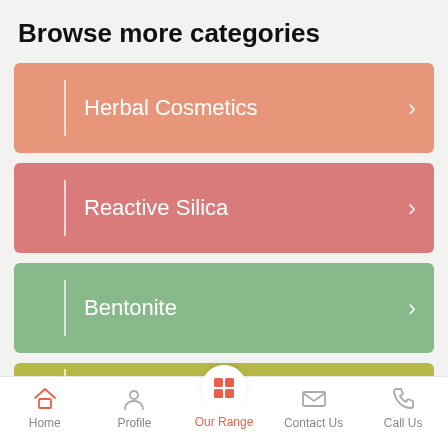Browse more categories
Herbal Cosmetics
Reactive Silica
Bentonite
Home | Profile | Our Range | Contact Us | Call Us